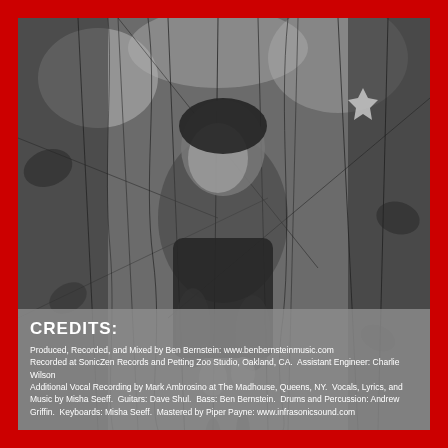[Figure (photo): Black and white photograph of a person standing among hanging branches and vines, looking at the camera. The image has a moody, forest-like atmosphere.]
CREDITS:
Produced, Recorded, and Mixed by Ben Bernstein: www.benbernsteinmusic.com Recorded at SonicZen Records and Petting Zoo Studio, Oakland, CA.  Assistant Engineer: Charlie Wilson Additional Vocal Recording by Mark Ambrosino at The Madhouse, Queens, NY.  Vocals, Lyrics, and Music by Misha Seeff.  Guitars: Dave Shul.  Bass: Ben Bernstein.  Drums and Percussion: Andrew Griffin.  Keyboards: Misha Seeff.  Mastered by Piper Payne: www.infrasonicsound.com